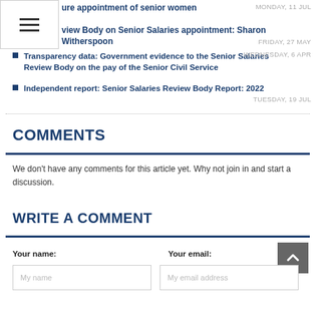ure appointment of senior women
view Body on Senior Salaries appointment: Sharon Witherspoon
Transparency data: Government evidence to the Senior Salaries Review Body on the pay of the Senior Civil Service
Independent report: Senior Salaries Review Body Report: 2022
COMMENTS
We don't have any comments for this article yet. Why not join in and start a discussion.
WRITE A COMMENT
Your name:
Your email: